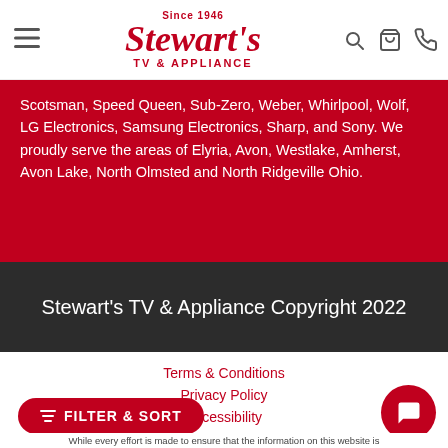Stewart's TV & Appliance – Since 1946
Scotsman, Speed Queen, Sub-Zero, Weber, Whirlpool, Wolf, LG Electronics, Samsung Electronics, Sharp, and Sony. We proudly serve the areas of Elyria, Avon, Westlake, Amherst, Avon Lake, North Olmsted and North Ridgeville Ohio.
Stewart's TV & Appliance Copyright 2022
Terms & Conditions
Privacy Policy
Accessibility
While every effort is made to ensure that the information on this website is